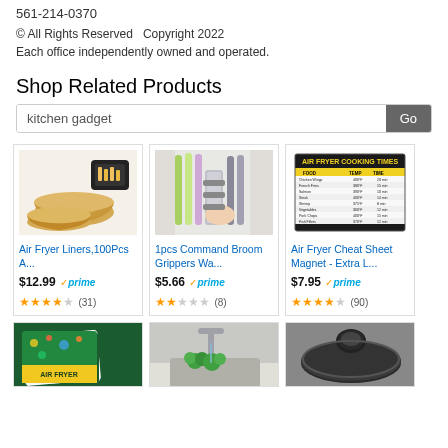561-214-0370
© All Rights Reserved  Copyright 2022
Each office independently owned and operated.
Shop Related Products
kitchen gadget [search input] Go
[Figure (screenshot): Air Fryer Liners product image - beige/golden paper liners and small air fryer with fries]
Air Fryer Liners,100Pcs A...
$12.99 ✓prime
★★★★☆ (31)
[Figure (screenshot): 1pcs Command Broom Grippers wall mount holding colorful brooms/mops]
1pcs Command Broom Grippers Wa...
$5.66 ✓prime
★★★☆☆ (8)
[Figure (screenshot): Air Fryer Cheat Sheet Magnet - black and yellow cooking times chart]
Air Fryer Cheat Sheet Magnet - Extra L...
$7.95 ✓prime
★★★★☆ (90)
[Figure (screenshot): Air Fryer cookbook with green cover - bottom row partial view]
[Figure (screenshot): Kitchen faucet/sink with green items - bottom row partial view]
[Figure (screenshot): Black circular kitchen item - bottom row partial view]